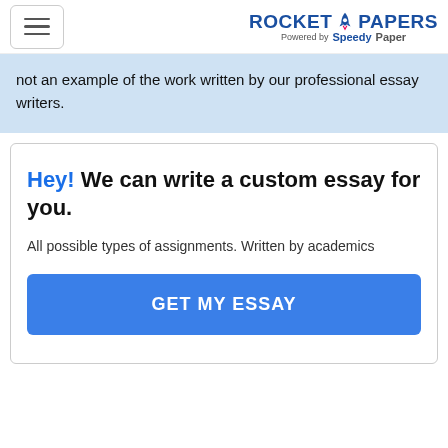ROCKET PAPERS Powered by SpeedyPaper
not an example of the work written by our professional essay writers.
Hey! We can write a custom essay for you.

All possible types of assignments. Written by academics

GET MY ESSAY